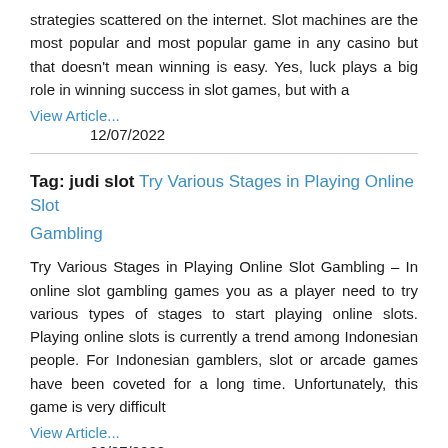strategies scattered on the internet. Slot machines are the most popular and most popular game in any casino but that doesn't mean winning is easy. Yes, luck plays a big role in winning success in slot games, but with a
View Article...
12/07/2022
Tag: judi slot Try Various Stages in Playing Online Slot Gambling
Try Various Stages in Playing Online Slot Gambling – In online slot gambling games you as a player need to try various types of stages to start playing online slots. Playing online slots is currently a trend among Indonesian people. For Indonesian gamblers, slot or arcade games have been coveted for a long time. Unfortunately, this game is very difficult
View Article...
06/07/2022